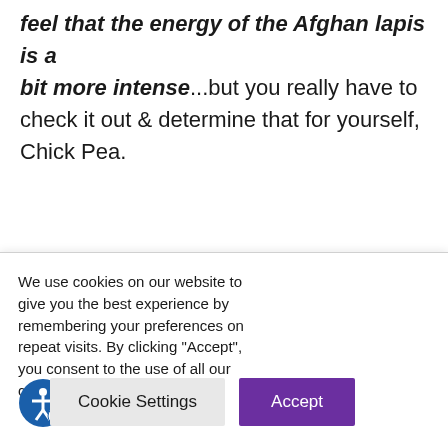feel that the energy of the Afghan lapis is a bit more intense...but you really have to check it out & determine that for yourself, Chick Pea.
Have you seen additional reports or experienced a Lapis Lazuli shortage? What do you think about lapis being
We use cookies on our website to give you the best experience by remembering your preferences on repeat visits. By clicking "Accept", you consent to the use of all our cookies.